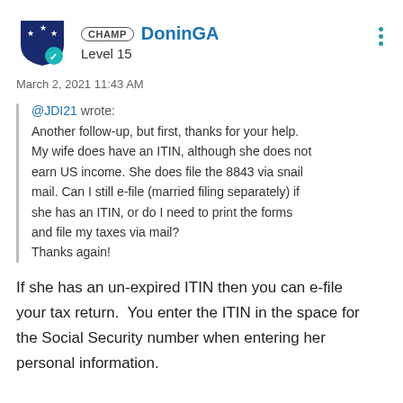[Figure (illustration): User avatar: dark navy shield with white stars and a teal checkmark badge overlay]
CHAMP DoninGA
Level 15
March 2, 2021 11:43 AM
@JDI21 wrote:
Another follow-up, but first, thanks for your help. My wife does have an ITIN, although she does not earn US income. She does file the 8843 via snail mail. Can I still e-file (married filing separately) if she has an ITIN, or do I need to print the forms and file my taxes via mail?
Thanks again!
If she has an un-expired ITIN then you can e-file your tax return.  You enter the ITIN in the space for the Social Security number when entering her personal information.